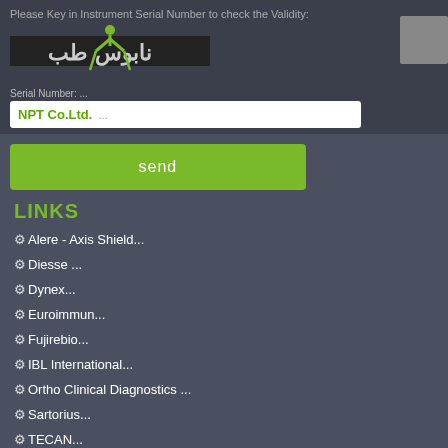Please Key in Instrument Serial Number to check the Validity:
[Figure (logo): NPT Co. Ltd. logo with Arabic text and antibody icon]
Serial Number: ...
send
LINKS
Alere - Axis Shield...
Diesse ...
Dynex...
Euroimmun...
Fujirebio...
IBL International...
Ortho Clinical Diagnostics ...
Sartorius...
TECAN...
TECO...
The Binding Site...
Tokyo Boeki...